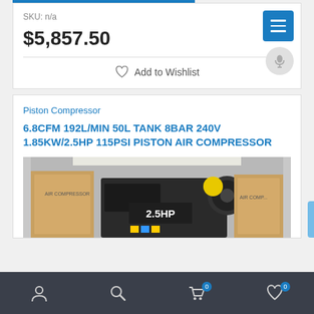SKU: n/a
$5,857.50
Add to Wishlist
Piston Compressor
6.8CFM 192L/MIN 50L TANK 8BAR 240V 1.85KW/2.5HP 115PSI PISTON AIR COMPRESSOR
[Figure (photo): Photo of a 2.5HP piston air compressor unit with yellow sticker label, surrounded by boxed units in a warehouse setting]